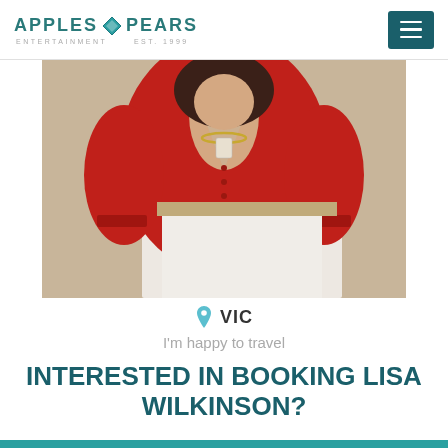APPLES & PEARS ENTERTAINMENT
[Figure (photo): Woman in red blouse and white skirt, fashion/talent agency photo]
VIC
I'm happy to travel
INTERESTED IN BOOKING LISA WILKINSON?